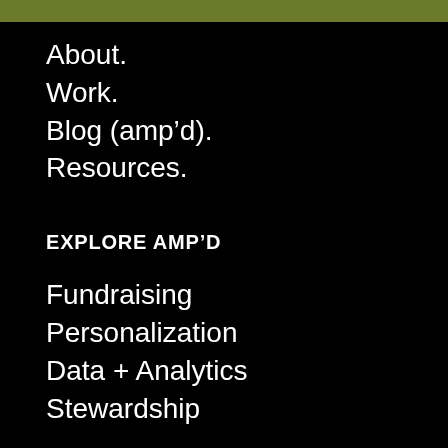About.
Work.
Blog (amp’d).
Resources.
EXPLORE AMP’D
Fundraising
Personalization
Data + Analytics
Stewardship
CONTACT
600 Ryerson Road